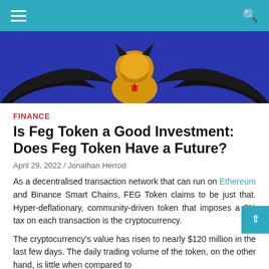Navigation bar with hamburger menu and search icon
[Figure (illustration): Batman-like superhero figure in yellow/gold costume with wings spread against a dark blue/purple background]
FINANCE
Is Feg Token a Good Investment: Does Feg Token Have a Future?
April 29, 2022 / Jonathan Herrod
As a decentralised transaction network that can run on Ethereum and Binance Smart Chains, FEG Token claims to be just that. Hyper-deflationary, community-driven token that imposes a 2% tax on each transaction is the cryptocurrency.
The cryptocurrency's value has risen to nearly $120 million in the last few days. The daily trading volume of the token, on the other hand, is little when compared to